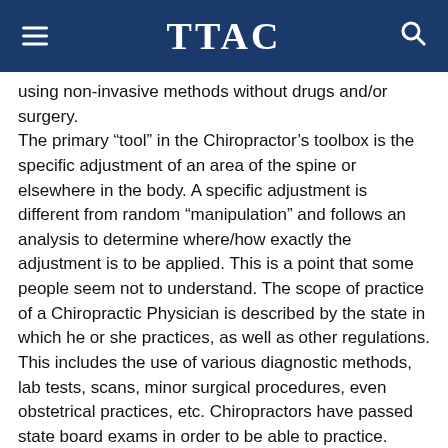TTAC
using non-invasive methods without drugs and/or surgery. The primary “tool” in the Chiropractor’s toolbox is the specific adjustment of an area of the spine or elsewhere in the body. A specific adjustment is different from random “manipulation” and follows an analysis to determine where/how exactly the adjustment is to be applied. This is a point that some people seem not to understand. The scope of practice of a Chiropractic Physician is described by the state in which he or she practices, as well as other regulations. This includes the use of various diagnostic methods, lab tests, scans, minor surgical procedures, even obstetrical practices, etc. Chiropractors have passed state board exams in order to be able to practice.
There are many, many, many different Chiropractic techniques. Anyone seeking care should ask the Doctor they are considering about the technique(s) she/he uses